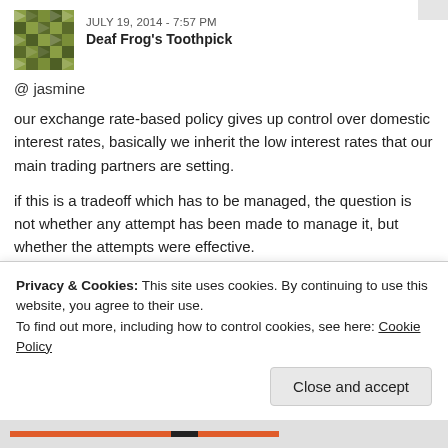JULY 19, 2014 - 7:57 PM
Deaf Frog's Toothpick
@ jasmine
our exchange rate-based policy gives up control over domestic interest rates, basically we inherit the low interest rates that our main trading partners are setting.
if this is a tradeoff which has to be managed, the question is not whether any attempt has been made to manage it, but whether the attempts were effective.
low interest rates & aggressive immigration cause property prices to raise, rising property prices seep into the cost structure and
Privacy & Cookies: This site uses cookies. By continuing to use this website, you agree to their use.
To find out more, including how to control cookies, see here: Cookie Policy
Close and accept